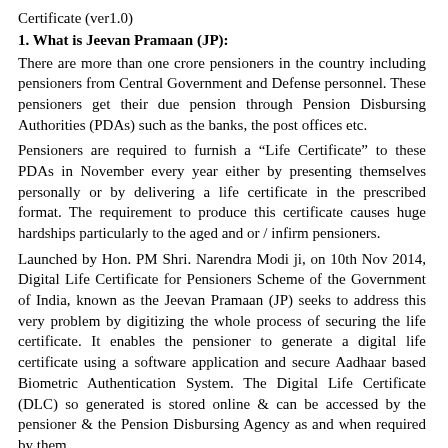Certificate (ver1.0)
1. What is Jeevan Pramaan (JP):
There are more than one crore pensioners in the country including pensioners from Central Government and Defense personnel. These pensioners get their due pension through Pension Disbursing Authorities (PDAs) such as the banks, the post offices etc.
Pensioners are required to furnish a “Life Certificate” to these PDAs in November every year either by presenting themselves personally or by delivering a life certificate in the prescribed format. The requirement to produce this certificate causes huge hardships particularly to the aged and or / infirm pensioners.
Launched by Hon. PM Shri. Narendra Modi ji, on 10th Nov 2014, Digital Life Certificate for Pensioners Scheme of the Government of India, known as the Jeevan Pramaan (JP) seeks to address this very problem by digitizing the whole process of securing the life certificate. It enables the pensioner to generate a digital life certificate using a software application and secure Aadhaar based Biometric Authentication System. The Digital Life Certificate (DLC) so generated is stored online & can be accessed by the pensioner & the Pension Disbursing Agency as and when required by them.